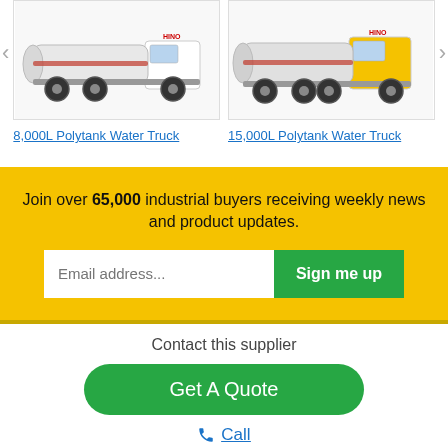[Figure (photo): 8,000L Polytank Water Truck product image - white tanker truck on white background]
[Figure (photo): 15,000L Polytank Water Truck product image - yellow and white tanker truck on white background]
8,000L Polytank Water Truck
15,000L Polytank Water Truck
Join over 65,000 industrial buyers receiving weekly news and product updates.
Email address...
Sign me up
Contact this supplier
Get A Quote
Call